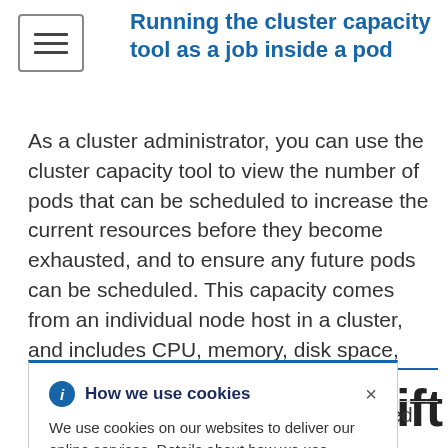Running the cluster capacity tool as a job inside a pod
As a cluster administrator, you can use the cluster capacity tool to view the number of pods that can be scheduled to increase the current resources before they become exhausted, and to ensure any future pods can be scheduled. This capacity comes from an individual node host in a cluster, and includes CPU, memory, disk space, and others.
[Figure (infographic): Cookie consent popup overlay showing 'How we use cookies' dialog with info icon, close button, body text about cookie usage, and a Privacy Statement link. Behind the popup (partially visible) are large bold letters 'nShift' and 'er'.]
instances of an input pod can be scheduled on the